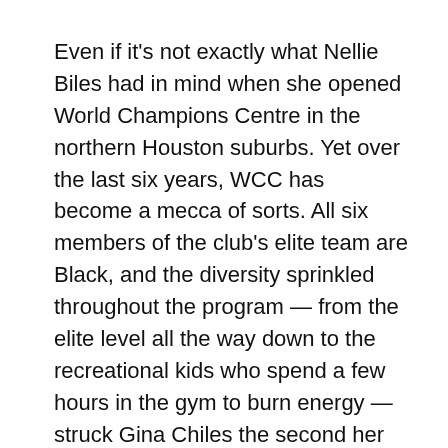Even if it's not exactly what Nellie Biles had in mind when she opened World Champions Centre in the northern Houston suburbs. Yet over the last six years, WCC has become a mecca of sorts. All six members of the club's elite team are Black, and the diversity sprinkled throughout the program — from the elite level all the way down to the recreational kids who spend a few hours in the gym to burn energy — struck Gina Chiles the second her daughter moved from Washington state to train at WCC in 2019.
“I remember calling my husband and saying ‘Bruh, you will never guess,’” Gina Chiles said. “At our home gym, Jordan was the only one. It was refreshing to be able to see people of all colors.